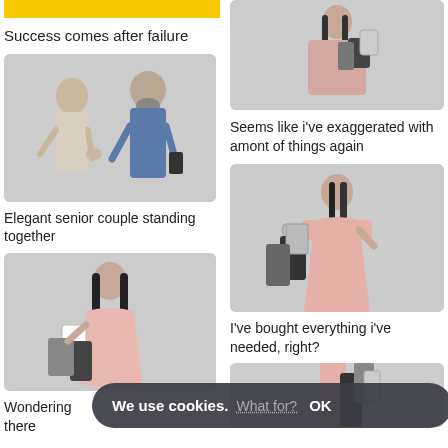[Figure (photo): Top of yellow image cropped at top left]
Success comes after failure
[Figure (photo): Elegant senior couple standing together - woman with long hair and older bearded man looking at phone]
Elegant senior couple standing together
[Figure (photo): Woman in pink dress holding shopping bags, looking down]
Wondering ... there
[Figure (photo): Woman with shopping bags, upper body, grey background]
Seems like i've exaggerated with amont of things again
[Figure (photo): Woman in pink dress with shopping bags, full body, grey background]
I've bought everything i've needed, right?
[Figure (photo): Partial view of woman with shopping bags at bottom right, cropped]
We use cookies. What for? OK